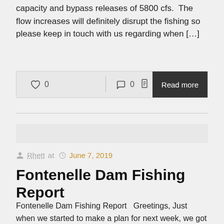capacity and bypass releases of 5800 cfs.  The flow increases will definitely disrupt the fishing so please keep in touch with us regarding when […]
0  0  Read more
Rhett at  June 7, 2019
Fontenelle Dam Fishing Report
Fontenelle Dam Fishing Report   Greetings, Just when we started to make a plan for next week, we got this info……  never a dull moment during runoff time…